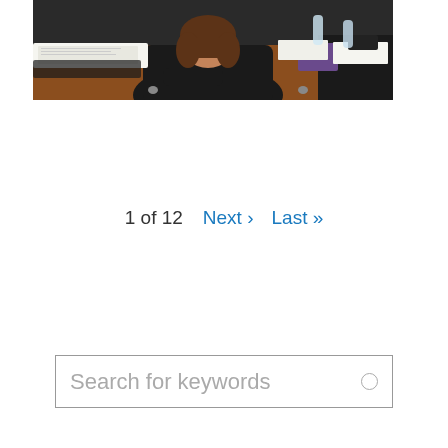[Figure (photo): A person with dark hair seen from behind, seated at a large conference table covered with papers, notebooks, documents, and water bottles. The setting appears to be a formal meeting room.]
1 of 12   Next ›   Last »
Search for keywords